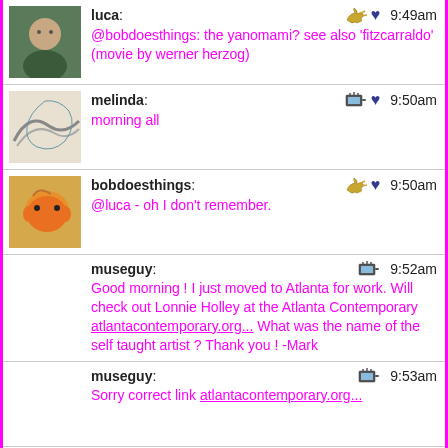luca: @bobdoesthings: the yanomami? see also 'fitzcarraldo' (movie by werner herzog) 9:49am
melinda: morning all 9:50am
bobdoesthings: @luca - oh I don't remember. 9:50am
museguy: Good morning ! I just moved to Atlanta for work. Will check out Lonnie Holley at the Atlanta Contemporary atlantacontemporary.org... What was the name of the self taught artist ? Thank you ! -Mark 9:52am
museguy: Sorry correct link atlantacontemporary.org... 9:53am
Trouble: @ mark: pasaquan is the place, buena vista GA. eddie owens martin is his name pasaquan.columbusstate.edu 9:54am
museguy: 9:56am